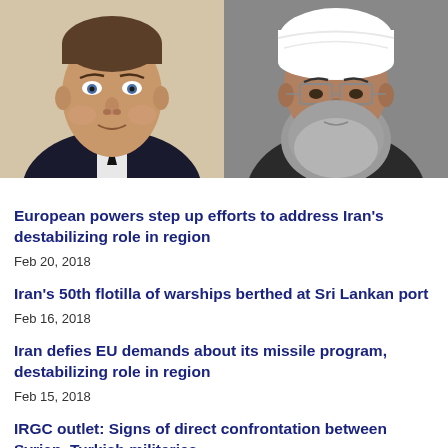[Figure (photo): Two photos side by side: left shows a young Western man in a dark suit (Emmanuel Macron), right shows an older bearded man wearing a white turban (Hassan Rouhani)]
European powers step up efforts to address Iran's destabilizing role in region
Feb 20, 2018
Iran's 50th flotilla of warships berthed at Sri Lankan port
Feb 16, 2018
Iran defies EU demands about its missile program, destabilizing role in region
Feb 15, 2018
IRGC outlet: Signs of direct confrontation between Syrian, Turkish militaries